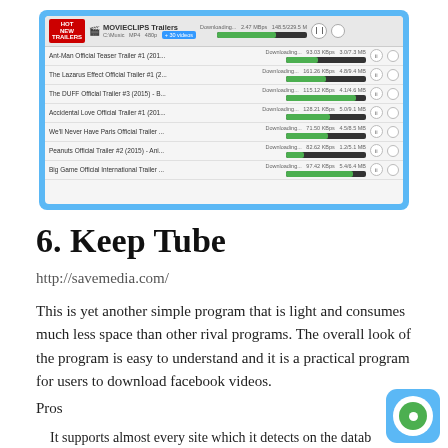[Figure (screenshot): Screenshot of a video downloader application showing MOVIECLIPS Trailers channel downloading multiple movie trailer videos with progress bars, speeds, and file sizes. Shows items: Ant-Man Official Teaser Trailer #1, The Lazarus Effect Official Trailer #1, The DUFF Official Trailer #3 (2015), Accidental Love Official Trailer #1, We'll Never Have Paris Official Trailer, Peanuts Official Trailer #2 (2015), Big Game Official International Trailer.]
6. Keep Tube
http://savemedia.com/
This is yet another simple program that is light and consumes much less space than other rival programs. The overall look of the program is easy to understand and it is a practical program for users to download facebook videos.
Pros
It supports almost every site which it detects on the database